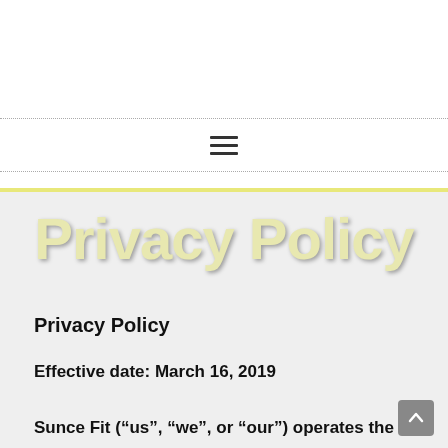[Figure (other): Navigation bar with hamburger menu icon, bordered top and bottom with dotted lines on white background]
Privacy Policy
Privacy Policy
Effective date: March 16, 2019
Sunce Fit (“us”, “we”, or “our”) operates the